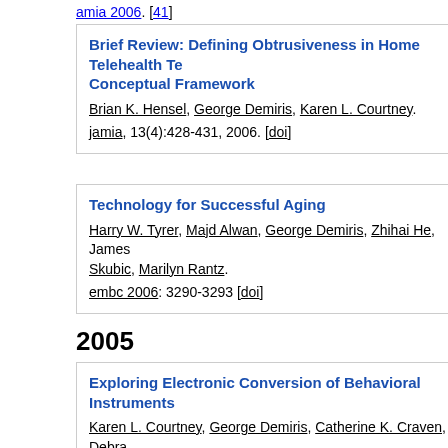amia 2006. [41]
Brief Review: Defining Obtrusiveness in Home Telehealth Technologies: A Conceptual Framework
Brian K. Hensel, George Demiris, Karen L. Courtney.
jamia, 13(4):428-431, 2006. [doi]
Technology for Successful Aging
Harry W. Tyrer, Majd Alwan, George Demiris, Zhihai He, James Skubic, Marilyn Rantz.
embc 2006: 3290-3293 [doi]
2005
Exploring Electronic Conversion of Behavioral Instruments
Karen L. Courtney, George Demiris, Catherine K. Craven, Debra Davina Porock.
mie 2005: 305-310 [doi]